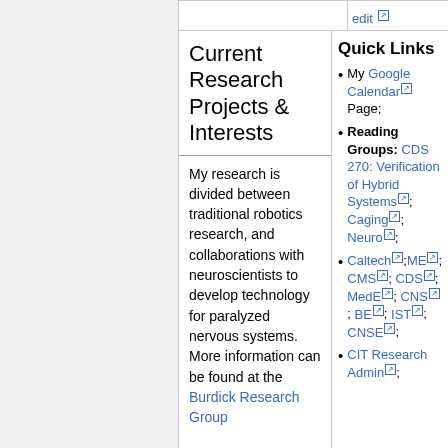Current Research Projects & Interests
My research is divided between traditional robotics research, and collaborations with neuroscientists to develop technology for paralyzed nervous systems. More information can be found at the Burdick Research Group
Quick Links
My Google Calendar Page;
Reading Groups: CDS 270: Verification of Hybrid Systems; Caging; Neuro;
Caltech; ME; CMS; CDS; MedE; CNS; BE; IST; CNSE;
CIT Research Admin;